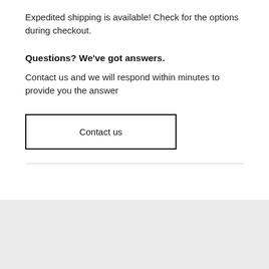Expedited shipping is available! Check for the options during checkout.
Questions? We’ve got answers.
Contact us and we will respond within minutes to provide you the answer
Contact us